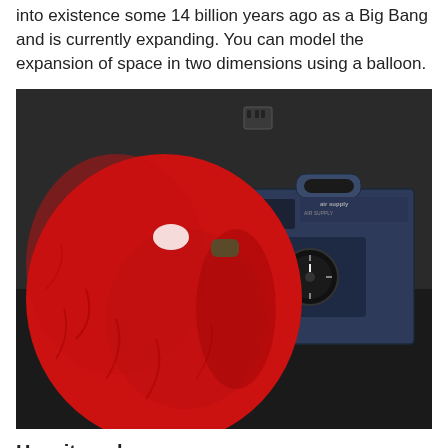into existence some 14 billion years ago as a Big Bang and is currently expanding. You can model the expansion of space in two dimensions using a balloon.
[Figure (photo): A large red balloon connected via a tube to a black electric air supply pump, both resting on a dark surface.]
How it works...
Read more ▶